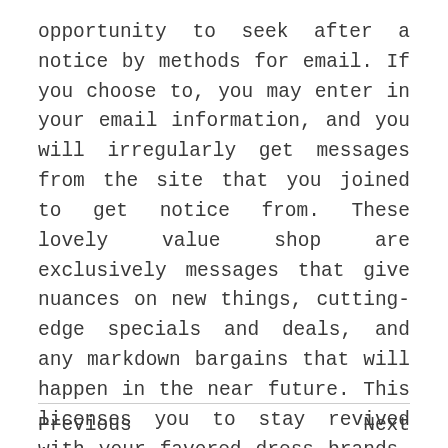opportunity to seek after a notice by methods for email. If you choose to, you may enter in your email information, and you will irregularly get messages from the site that you joined to get notice from. These lovely value shop are exclusively messages that give nuances on new things, cutting-edge specials and deals, and any markdown bargains that will happen in the near future. This licenses you to stay revived with your favored dress brands, and ensures that you will for the most part be getting the best plan on whatever you choose to buy.
Previous    Next